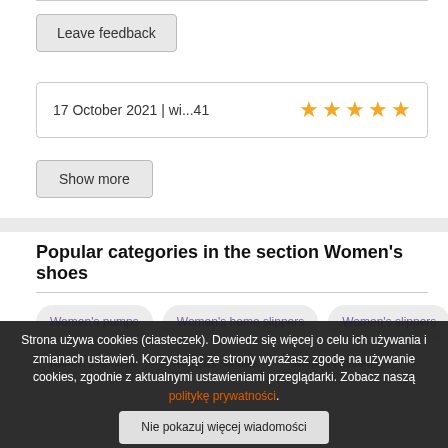Leave feedback
17 October 2021 | wi...41 ★★★★★
Show more
Popular categories in the section Women's shoes
Women's pumps
Women's home slippers
Women's slippers
Women's flip-flops
Women's sandals
Women's loafers
Strona używa cookies (ciasteczek). Dowiedz się więcej o celu ich używania i zmianach ustawień. Korzystając ze strony wyrażasz zgodę na używanie cookies, zgodnie z aktualnymi ustawieniami przeglądarki. Zobacz naszą politykę prywatności.
Nie pokazuj więcej wiadomości